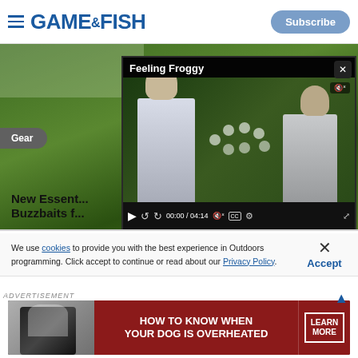GAME & FISH | Subscribe
[Figure (screenshot): Game & Fish website article page showing a fishing/gear article with video overlay titled 'Feeling Froggy' showing two anglers, video controls showing 00:00 / 04:14]
Gear
New Essent... Buzzbaits f...
We use cookies to provide you with the best experience in Outdoors programming. Click accept to continue or read about our Privacy Policy.
Advertisement
[Figure (photo): Advertisement banner: 'HOW TO KNOW WHEN YOUR DOG IS OVERHEATED' with LEARN MORE button on dark red background]